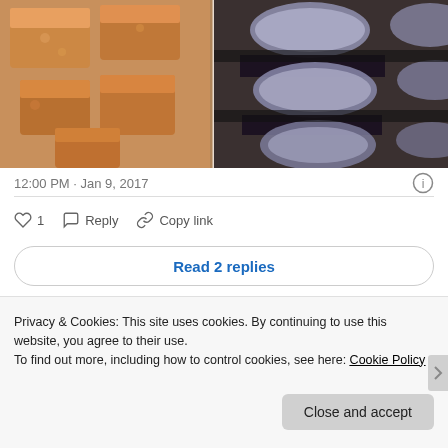[Figure (photo): Photo of baked goods: left side shows caramel/toffee brownie squares, right side shows dark chocolate layered dessert bars with white cream filling, arranged on a white tray.]
12:00 PM · Jan 9, 2017
♡ 1   Reply   Copy link
Read 2 replies
Privacy & Cookies: This site uses cookies. By continuing to use this website, you agree to their use.
To find out more, including how to control cookies, see here: Cookie Policy
Close and accept